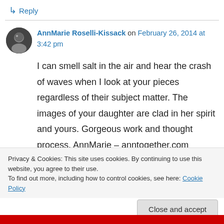↳ Reply
AnnMarie Roselli-Kissack on February 26, 2014 at 3:42 pm
I can smell salt in the air and hear the crash of waves when I look at your pieces regardless of their subject matter. The images of your daughter are clad in her spirit and yours. Gorgeous work and thought process. AnnMarie – anntogether.com
Privacy & Cookies: This site uses cookies. By continuing to use this website, you agree to their use. To find out more, including how to control cookies, see here: Cookie Policy